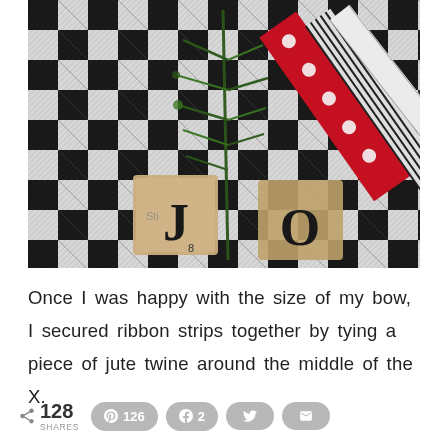[Figure (photo): Close-up photo of buffalo check black and white fabric with Scrabble tiles spelling 'JO', sprigs of fresh rosemary/pine, and decorative ribbons including red polka dot and striped ribbons arranged on top.]
Once I was happy with the size of my bow, I secured ribbon strips together by tying a piece of jute twine around the middle of the X.
128 SHARES  126  2